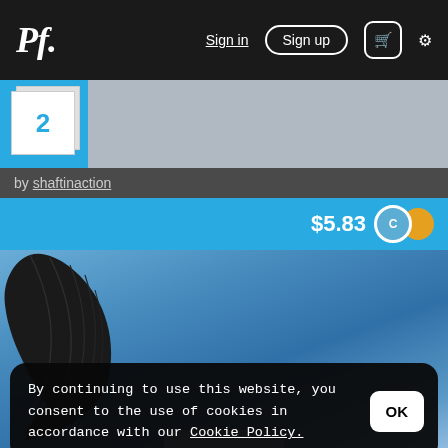Pf. Sign in Sign up 🛒 ⚙
2
by shaftinaction
$5.83
[Figure (photo): A dark feathered wing (likely CGI/3D render) against a blue sky background, with white crystalline or ice-like structures partially visible at the bottom.]
By continuing to use this website, you consent to the use of cookies in accordance with our Cookie Policy.